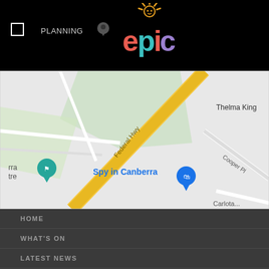epic (logo with hamburger menu and planning label)
[Figure (map): Google Maps screenshot showing Federal Hwy, Thelma King, Cooper Pl, Spy in Canberra location marker, and surrounding Canberra area roads]
HOME
WHAT'S ON
LATEST NEWS
PLANNING
VISITING
CAMPING